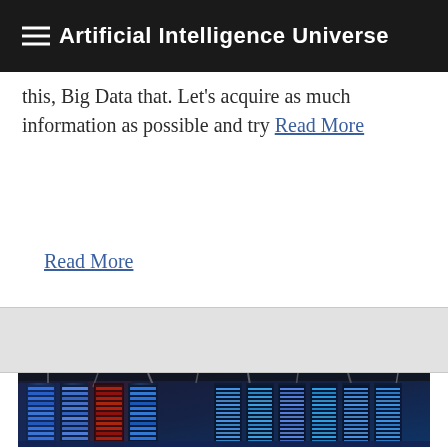Artificial Intelligence Universe
this, Big Data that. Let’s acquire as much information as possible and try Read More
Read More
[Figure (photo): Data center with rows of server racks illuminated with blue and purple lighting, cables overhead]